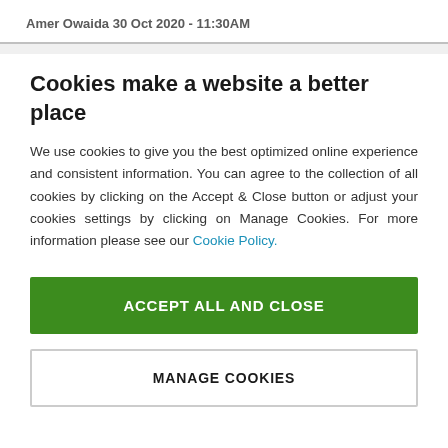Amer Owaida 30 Oct 2020 - 11:30AM
Cookies make a website a better place
We use cookies to give you the best optimized online experience and consistent information. You can agree to the collection of all cookies by clicking on the Accept & Close button or adjust your cookies settings by clicking on Manage Cookies. For more information please see our Cookie Policy.
ACCEPT ALL AND CLOSE
MANAGE COOKIES